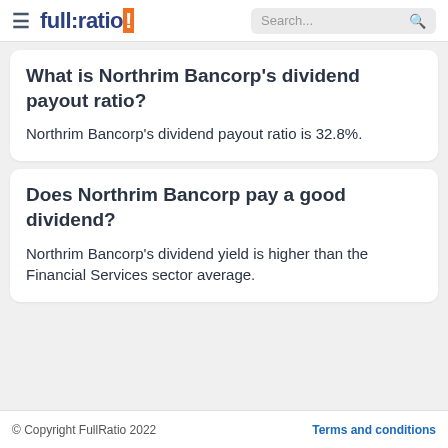full:ratio | Search...
What is Northrim Bancorp's dividend payout ratio?
Northrim Bancorp's dividend payout ratio is 32.8%.
Does Northrim Bancorp pay a good dividend?
Northrim Bancorp's dividend yield is higher than the Financial Services sector average.
© Copyright FullRatio 2022 | Terms and conditions